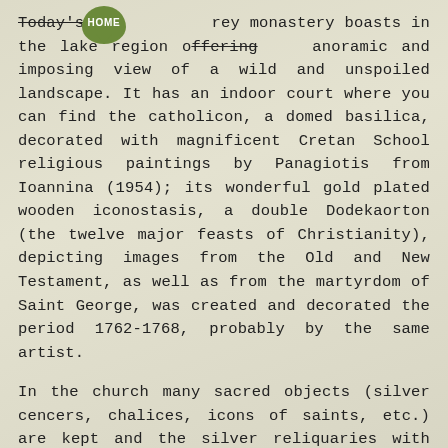Today's grey monastery boasts in the lake region offering a panoramic and imposing view of a wild and unspoiled landscape. It has an indoor court where you can find the catholicon, a domed basilica, decorated with magnificent Cretan School religious paintings by Panagiotis from Ioannina (1954); its wonderful gold plated wooden iconostasis, a double Dodekaorton (the twelve major feasts of Christianity), depicting images from the Old and New Testament, as well as from the martyrdom of Saint George, was created and decorated the period 1762-1768, probably by the same artist.
In the church many sacred objects (silver cencers, chalices, icons of saints, etc.) are kept and the silver reliquaries with incrusted ivory parts depicting religious representations are exhibited in a special show-case. However, many old objects from the monastery and the Palaiomonastiro are exhibited in the Ecclesiastical Museum in the city of Corinth. In the monastery there is also a library with many old books.
Around catholicon there are two-storey and three-storey buildings which are the monks of each. Their...